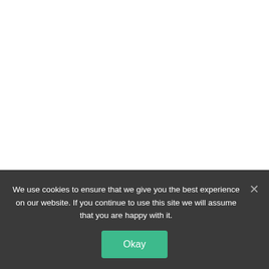[Figure (screenshot): Small green button stub visible at the very top center of the page, partially cropped]
Leave a Reply
[Figure (screenshot): Light gray form area with darker gray bars on left and right edges, representing a comment/reply form input area]
We use cookies to ensure that we give you the best experience on our website. If you continue to use this site we will assume that you are happy with it.
Okay